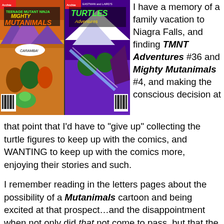[Figure (photo): Two comic book covers side by side: 'Mighty Mutanimals' (left, with desert scene and characters, speech bubble 'CARAMBA!') and 'TMNT Adventures' by Eastman and Laird (right, with turtles in action).]
I have a memory of a family vacation to Niagra Falls, and finding TMNT Adventures #36 and Mighty Mutanimals #4, and making the conscious decision at that point that I'd have to "give up" collecting the turtle figures to keep up with the comics, and WANTING to keep up with the comics more, enjoying their stories and such.

I remember reading in the letters pages about the possibility of a Mutanimals cartoon and being excited at that prospect…and the disappointment when not only did that not come to pass, but that the Mutanimals series was ending at #9, perhaps to return if anything would ever